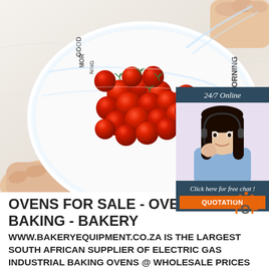[Figure (photo): A plate of cherry tomatoes covered with plastic wrap being unwrapped by hands, on a white marble-like surface. The plate reads 'GOOD MORNING' in decorative text.]
[Figure (infographic): 24/7 Online chat widget with a smiling woman wearing a headset, dark blue background, with 'Click here for free chat!' text and an orange QUOTATION button.]
OVENS FOR SALE - OVEN F... BAKING - BAKERY
WWW.BAKERYEQUIPMENT.CO.ZA IS THE LARGEST SOUTH AFRICAN SUPPLIER OF ELECTRIC GAS INDUSTRIAL BAKING OVENS @ WHOLESALE PRICES DIRECT TO THE PUBLIC!!! WE HAVE THE FOLLOWING